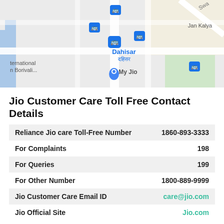[Figure (map): Google Maps screenshot showing Dahisar area with transit icons, 'My Jio' store marker, and nearby streets including partial text 'Jan Kalya', 'ternational n Borivali...']
Jio Customer Care Toll Free Contact Details
| Reliance Jio care Toll-Free Number | 1860-893-3333 |
| For Complaints | 198 |
| For Queries | 199 |
| For Other Number | 1800-889-9999 |
| Jio Customer Care Email ID | care@jio.com |
| Jio Official Site | Jio.com |
Jio care number toll free
List of Nearest Jio Care Center in